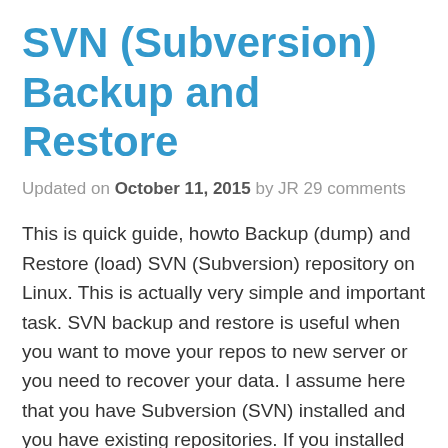SVN (Subversion) Backup and Restore
Updated on October 11, 2015 by JR 29 comments
This is quick guide, howto Backup (dump) and Restore (load) SVN (Subversion) repository on Linux. This is actually very simple and important task. SVN backup and restore is useful when you want to move your repos to new server or you need to recover your data. I assume here that you have Subversion (SVN) installed and you have existing repositories. If you installed and created testrepo with earlier guide then you can check real examples.